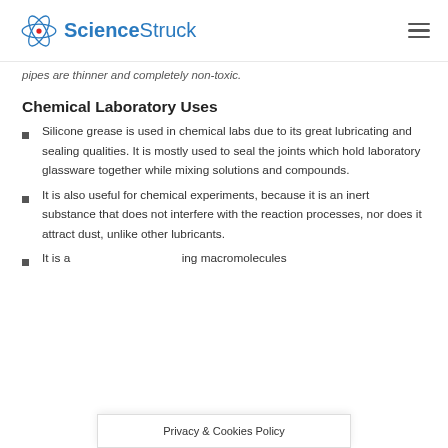ScienceStruck
pipes are thinner and completely non-toxic.
Chemical Laboratory Uses
Silicone grease is used in chemical labs due to its great lubricating and sealing qualities. It is mostly used to seal the joints which hold laboratory glassware together while mixing solutions and compounds.
It is also useful for chemical experiments, because it is an inert substance that does not interfere with the reaction processes, nor does it attract dust, unlike other lubricants.
It is a … ing macromolecules
Privacy & Cookies Policy